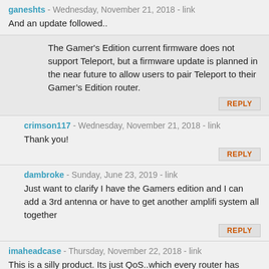ganeshts - Wednesday, November 21, 2018 - link
And an update followed..
The Gamer's Edition current firmware does not support Teleport, but a firmware update is planned in the near future to allow users to pair Teleport to their Gamer's Edition router.
REPLY
crimson117 - Wednesday, November 21, 2018 - link
Thank you!
REPLY
dambroke - Sunday, June 23, 2019 - link
Just want to clarify I have the Gamers edition and I can add a 3rd antenna or have to get another amplifi system all together
REPLY
imaheadcase - Thursday, November 22, 2018 - link
This is a silly product. Its just QoS..which every router has anyway. So you are just buying a branded router that looks neat